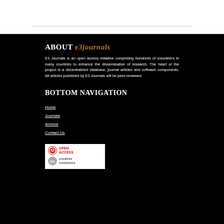ABOUT e3journals
E3 Journals is an open access initiative comprising hundreds of volunteers in many countries to enhance the dissemination of research. The heart of the project is a decentralized database, journal articles and software components. All articles published by E3 Journals will be peer-reviewed.
BOTTOM NAVIGATION
Home
Journals
Archive
Contact Us
[Figure (logo): Open Access and Creative Commons badge logos]